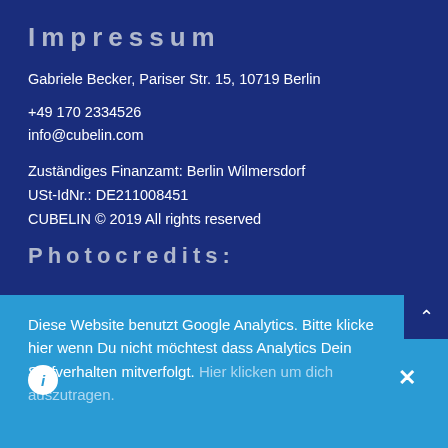Impressum
Gabriele Becker, Pariser Str. 15, 10719 Berlin
+49 170 2334526
info@cubelin.com
Zuständiges Finanzamt: Berlin Wilmersdorf
USt-IdNr.: DE211008451
CUBELIN © 2019 All rights reserved
Photocredits:
Diese Website benutzt Google Analytics. Bitte klicke hier wenn Du nicht möchtest dass Analytics Dein Surfverhalten mitverfolgt. Hier klicken um dich auszutragen.